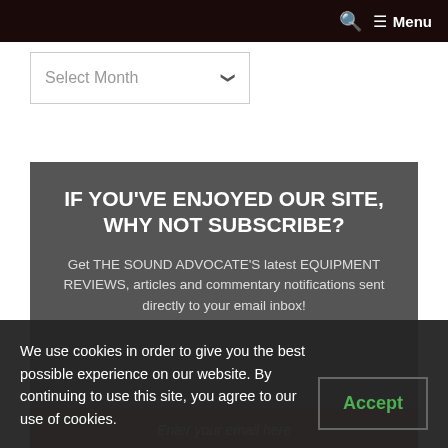🔍 ☰ Menu
Select Month
IF YOU'VE ENJOYED OUR SITE, WHY NOT SUBSCRIBE?
Get THE SOUND ADVOCATE'S latest EQUIPMENT REVIEWS, articles and commentary notifications sent directly to your email inbox!
Enter your email here
We use cookies in order to give you the best possible experience on our website. By continuing to use this site, you agree to our use of cookies.